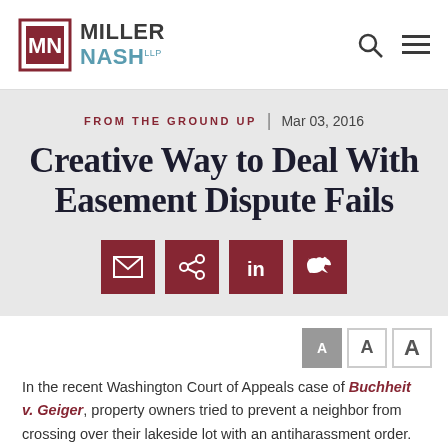Miller Nash LLP
FROM THE GROUND UP | Mar 03, 2016
Creative Way to Deal With Easement Dispute Fails
In the recent Washington Court of Appeals case of Buchheit v. Geiger, property owners tried to prevent a neighbor from crossing over their lakeside lot with an antiharassment order.  The neighbor began